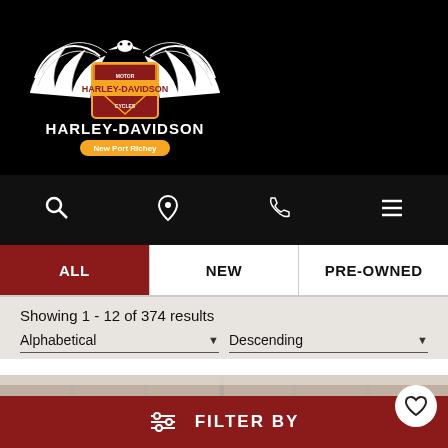[Figure (logo): Harley-Davidson dealership logo with eagle wings and bar-and-shield emblem, white on black background]
[Figure (screenshot): Navigation icon bar with search, location pin, phone, and hamburger menu icons on dark background]
ALL | NEW | PRE-OWNED tab bar with ALL selected in dark red
Showing 1 - 12 of 374 results
Alphabetical ▼
Descending ▼
[Figure (photo): Harley-Davidson motorcycles in front of a brick wall with Motor Harley-Davidson logo sign, with a heart/favorite button overlay]
≡ FILTER BY